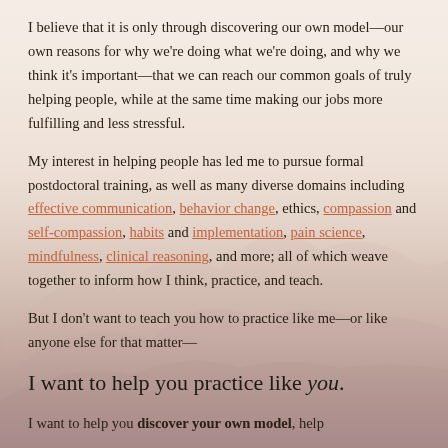I believe that it is only through discovering our own model—our own reasons for why we're doing what we're doing, and why we think it's important—that we can reach our common goals of truly helping people, while at the same time making our jobs more fulfilling and less stressful.
My interest in helping people has led me to pursue formal postdoctoral training, as well as many diverse domains including effective communication, behavior change, ethics, compassion and self-compassion, habits and implementation, pain science, mindfulness, clinical reasoning, and more; all of which weave together to inform how I think, practice, and teach.
But I don't want to teach you how to practice like me—or like anyone else for that matter—
I want to help you practice like you.
I want to help you discover your own model, help